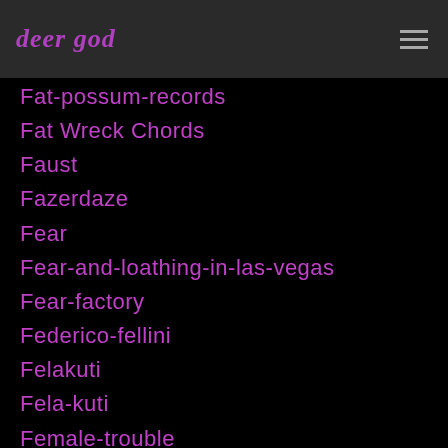deer god
Fat-possum-records
Fat Wreck Chords
Faust
Fazerdaze
Fear
Fear-and-loathing-in-las-vegas
Fear-factory
Federico-fellini
Felakuti
Fela-kuti
Female-trouble
Femi-kuti
Feminism
Feminists
FFS
Fight-club
Filippo Brunelleschi